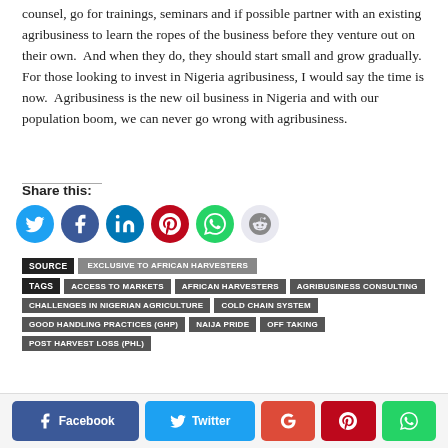counsel, go for trainings, seminars and if possible partner with an existing agribusiness to learn the ropes of the business before they venture out on their own.  And when they do, they should start small and grow gradually.  For those looking to invest in Nigeria agribusiness, I would say the time is now.  Agribusiness is the new oil business in Nigeria and with our population boom, we can never go wrong with agribusiness.
Share this:
[Figure (infographic): Social share icon buttons: Twitter (blue), Facebook (blue), LinkedIn (blue), Pinterest (red), WhatsApp (green), Reddit (light blue/grey)]
SOURCE   EXCLUSIVE TO AFRICAN HARVESTERS
TAGS   ACCESS TO MARKETS   AFRICAN HARVESTERS   AGRIBUSINESS CONSULTING   CHALLENGES IN NIGERIAN AGRICULTURE   COLD CHAIN SYSTEM   GOOD HANDLING PRACTICES (GHP)   NAIJA PRIDE   OFF TAKING   POST HARVEST LOSS (PHL)
[Figure (infographic): Social share buttons row: Facebook (dark blue), Twitter (light blue), Google+ (red), Pinterest (dark red), WhatsApp (green)]